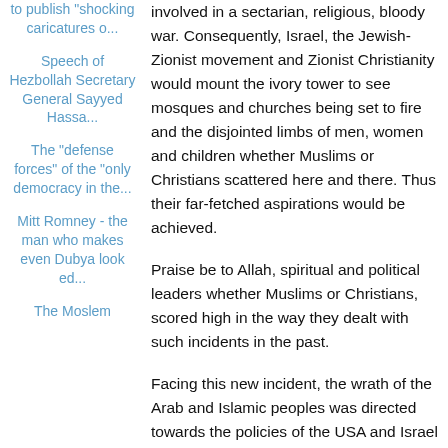to publish "shocking caricatures o...
Speech of Hezbollah Secretary General Sayyed Hassa...
The "defense forces" of the "only democracy in the...
Mitt Romney - the man who makes even Dubya look ed...
The Moslem
involved in a sectarian, religious, bloody war. Consequently, Israel, the Jewish-Zionist movement and Zionist Christianity would mount the ivory tower to see mosques and churches being set to fire and the disjointed limbs of men, women and children whether Muslims or Christians scattered here and there. Thus their far-fetched aspirations would be achieved.
Praise be to Allah, spiritual and political leaders whether Muslims or Christians, scored high in the way they dealt with such incidents in the past.
Facing this new incident, the wrath of the Arab and Islamic peoples was directed towards the policies of the USA and Israel instead of towards Christians. This is an excellent and a positive indicator because it manifests a great extent of awareness among Muslims and Christians alike. All were worried on Egypt above all because the insulting movie was referred to Egyptian Copts as